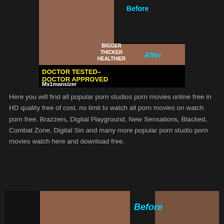[Figure (photo): Advertisement image for Mx1mansizer product showing before/after comparison with text: BIGGER THICKER HEALTHIER, After, DOCTOR TESTED- DOCTOR APPROVED, Mx1mansizer]
Here you will find all popular porn studios porn movies online free in HD quality free of cost. no limit to watch all porn movies on watch porn free. Brazzers, Digital Playground, New Sensations, Blacked, Combat Zone, Digital Sin and many more popular porn studio porn movies watch here and download free.
[Figure (photo): Second advertisement image for same product showing Before label in cyan text]